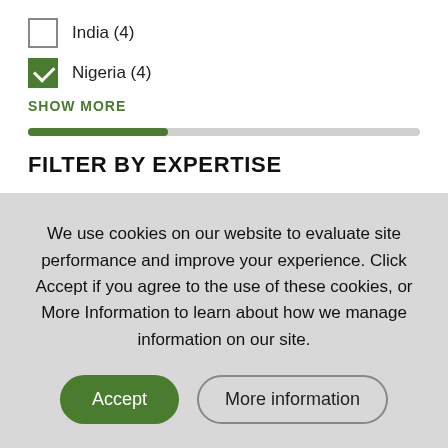India (4)
Nigeria (4)
SHOW MORE
FILTER BY EXPERTISE
Agricultural Productivity (17)
Policy and Governance (10)
We use cookies on our website to evaluate site performance and improve your experience. Click Accept if you agree to the use of these cookies, or More Information to learn about how we manage information on our site.